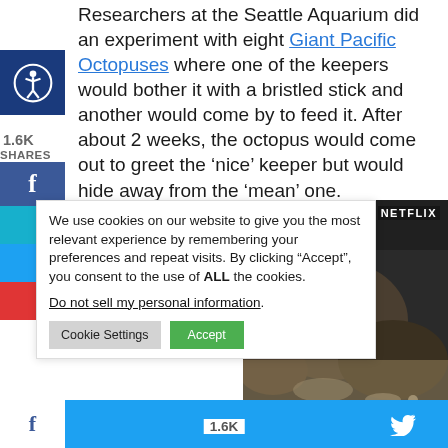Researchers at the Seattle Aquarium did an experiment with eight Giant Pacific Octopuses where one of the keepers would bother it with a bristled stick and another would come by to feed it. After about 2 weeks, the octopus would come out to greet the ‘nice’ keeper but would hide away from the ‘mean’ one.
[Figure (screenshot): Cookie consent notification dialog with text: 'We use cookies on our website to give you the most relevant experience by remembering your preferences and repeat visits. By clicking “Accept”, you consent to the use of ALL the cookies.' with a 'Do not sell my personal information.' link and 'Cookie Settings' and 'Accept' buttons. A Netflix-branded image of an octopus in a rocky underwater environment is visible to the right.]
1.6K
SHARES
[Figure (screenshot): Bottom share bar showing 1.6K count and Twitter bird icon on a light blue background.]